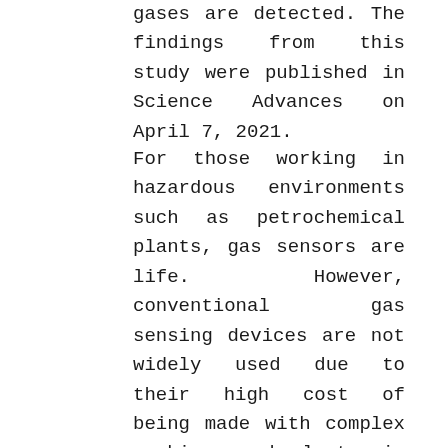gases are detected. The findings from this study were published in Science Advances on April 7, 2021.
For those working in hazardous environments such as petrochemical plants, gas sensors are life. However, conventional gas sensing devices are not widely used due to their high cost of being made with complex machines and electronic devices. In addition, commercial gas sensors have limitations in that they are difficult to use, and have poor portability and reaction speed.
To solve these issues, the research team utilized the metasurface, well known as a future optical device known to have the invisible cloak effect through making visible objects disappear by controlling the